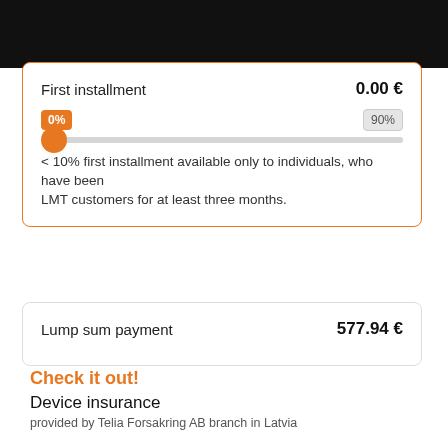First installment   0.00 €
[Figure (other): A slider UI component showing 0% on the left (orange badge) and 90% on the right (gray badge), with an orange circular knob at the far left of the slider track.]
< 10% first installment available only to individuals, who have been LMT customers for at least three months.
Lump sum payment   577.94 €
Check it out!
Device insurance
provided by Telia Forsakring AB branch in Latvia